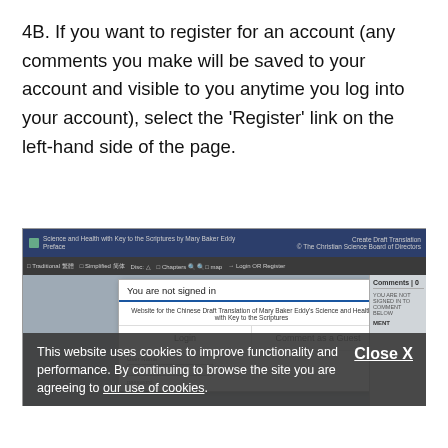4B. If you want to register for an account (any comments you make will be saved to your account and visible to you anytime you log into your account), select the 'Register' link on the left-hand side of the page.
[Figure (screenshot): Screenshot of a website with a 'You are not signed in' modal dialog showing Login and Comment as a Guest options, overlaid on a dark background with a cookie consent banner at the bottom reading 'This website uses cookies to improve functionality and performance. By continuing to browse the site you are agreeing to our use of cookies.' with a Close X button.]